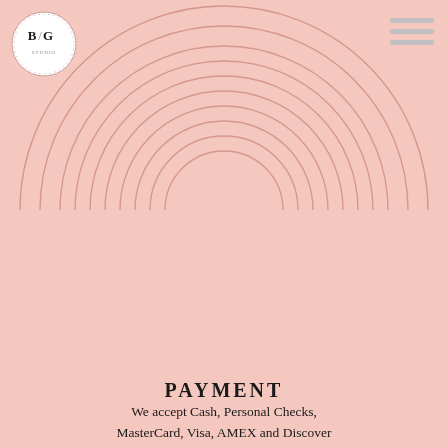[Figure (logo): BG salon logo — circular badge with letters B and G in serif font, thin decorative border]
[Figure (illustration): Top half: decorative concentric semi-circle arcs in dusty rose on pink background, opening downward]
[Figure (illustration): Bottom section: decorative concentric circle arcs in dusty rose on pink background, opening upward]
PAYMENT
We accept Cash, Personal Checks, MasterCard, Visa, AMEX and Discover